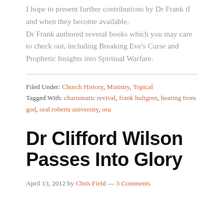I hope to present further contributions by Dr Frank if and when they become available. Dr Frank authored several books which you may care to check out, including Breaking Eve's Curse and Prophetic Insights into Spiritual Warfare.
Filed Under: Church History, Ministry, Topical Tagged With: charismatic revival, frank hultgren, hearing from god, oral roberts university, oru
Dr Clifford Wilson Passes Into Glory
April 13, 2012 by Chris Field — 3 Comments